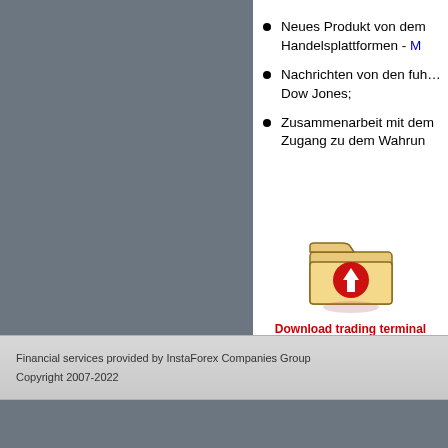Neues Produkt von dem Handelsplattformen - M…
Nachrichten von den ful… Dow Jones;
Zusammenarbeit mit dem… Zugang zu dem Wahrun…
[Figure (illustration): Folder icon with red download arrow, showing a file folder with a red circular arrow pointing downward, with a faint reflection below]
Download trading terminal
Financial services provided by InstaForex Companies Group
Copyright 2007-2022